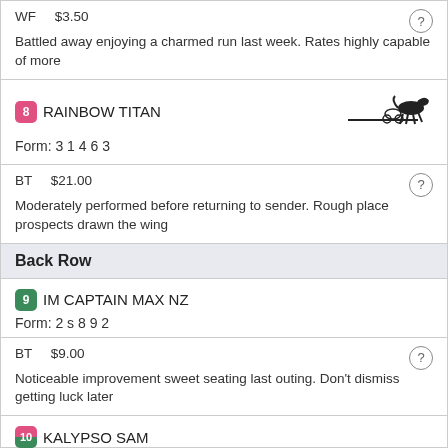WF    $3.50
Battled away enjoying a charmed run last week. Rates highly capable of more
RAINBOW TITAN
Form: 3 1 4 6 3
BT    $21.00
Moderately performed before returning to sender. Rough place prospects drawn the wing
Back Row
IM CAPTAIN MAX NZ
Form: 2 s 8 9 2
BT    $9.00
Noticeable improvement sweet seating last outing. Don't dismiss getting luck later
KALYPSO SAM
Form: 2 5 9 8 2
BT    $26.00